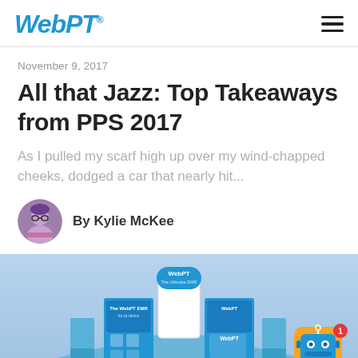WebPT
November 9, 2017
All that Jazz: Top Takeaways from PPS 2017
As I pulled my scarf high up over my wind-chapped cheeks, dodged a car that nearly hit...
By Kylie McKee
[Figure (illustration): WebPT trade show booth illustration with branded displays and banners]